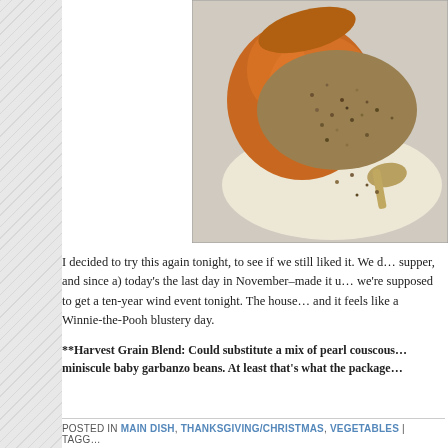[Figure (photo): A pumpkin or squash filled with Harvest Grain Blend stuffing mixture, spilling out onto parchment paper with a spoon beside it.]
I decided to try this again tonight, to see if we still liked it.  We d... supper, and since a) today's the last day in November–made it u... we're supposed to get a ten-year wind event tonight.  The house ... and it feels like a Winnie-the-Pooh blustery day.
**Harvest Grain Blend: Could substitute a mix of pearl couscous... miniscule baby garbanzo beans.  At least that's what the package...
POSTED IN  MAIN DISH, THANKSGIVING/CHRISTMAS, VEGETABLES | TAGG...